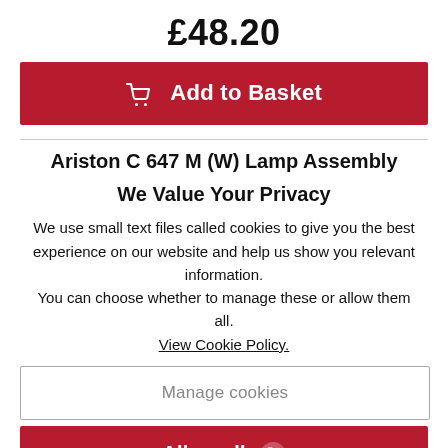£48.20
Add to Basket
Ariston C 647 M (W) Lamp Assembly
We Value Your Privacy
We use small text files called cookies to give you the best experience on our website and help us show you relevant information. You can choose whether to manage these or allow them all. View Cookie Policy.
Manage cookies
Allow all